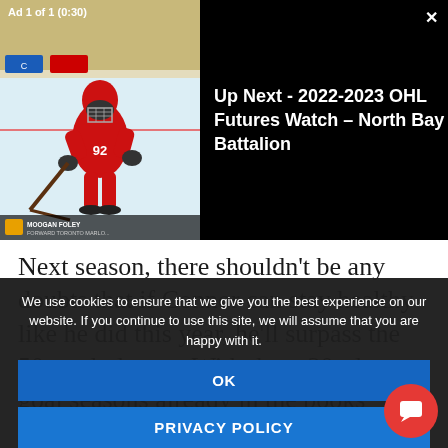Ad 1 of 1 (0:30)
[Figure (screenshot): Hockey player in red uniform skating on ice, with player name overlay at bottom. TV broadcast screenshot.]
Up Next - 2022-2023 OHL Futures Watch – North Bay Battalion
Next season, there shouldn't be any doubts that if Connor can stay healthy like he did this year, he'll surpass the 50-goal plateau. With three 30-plus goal seasons already in the books through his first five seasons, he was due to explode. The confidence he'll have heading into next season
We use cookies to ensure that we give you the best experience on our website. If you continue to use this site, we will assume that you are happy with it.
OK
PRIVACY POLICY